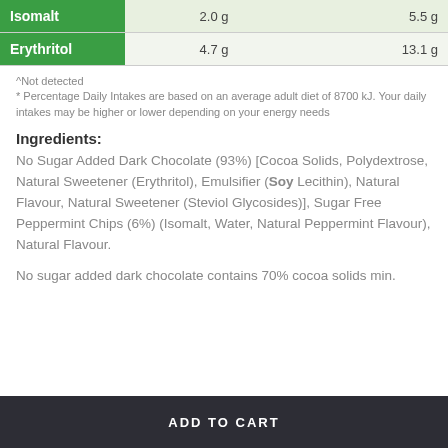|  | Per Serving |  | Per 100g |
| --- | --- | --- | --- |
| Isomalt | 2.0 g |  | 5.5 g |
| Erythritol | 4.7 g |  | 13.1 g |
^Not detected
* Percentage Daily Intakes are based on an average adult diet of 8700 kJ. Your daily intakes may be higher or lower depending on your energy needs
Ingredients:
No Sugar Added Dark Chocolate (93%) [Cocoa Solids, Polydextrose, Natural Sweetener (Erythritol), Emulsifier (Soy Lecithin), Natural Flavour, Natural Sweetener (Steviol Glycosides)], Sugar Free Peppermint Chips (6%) (Isomalt, Water, Natural Peppermint Flavour), Natural Flavour.
No sugar added dark chocolate contains 70% cocoa solids min.
ADD TO CART